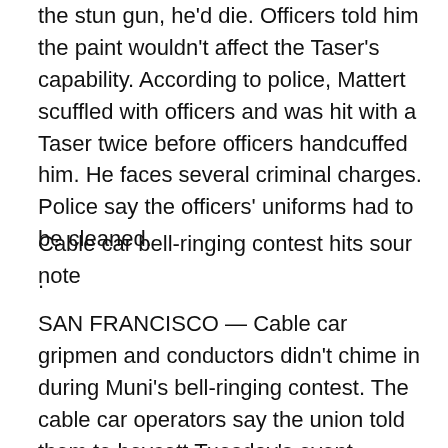the stun gun, he'd die. Officers told him the paint wouldn't affect the Taser's capability. According to police, Mattert scuffled with officers and was hit with a Taser twice before officers handcuffed him. He faces several criminal charges. Police say the officers' uniforms had to be cleaned.
Cable car bell-ringing contest hits sour note
.
SAN FRANCISCO — Cable car gripmen and conductors didn't chime in during Muni's bell-ringing contest. The cable car operators say the union told them to boycott Tuesday's event, although Transportation Workers Union Local 250-A secretary-treasurer Walter Scott III denies the union had anything to do with it. The union has been fighting the city over cuts in overtime pay and an $80 a month fee for drivers to park their cars in city bus yards.